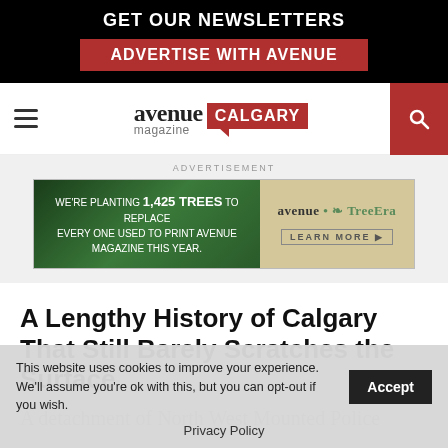GET OUR NEWSLETTERS
ADVERTISE WITH AVENUE
[Figure (logo): Avenue Calgary magazine logo with red speech bubble]
ADVERTISEMENT
[Figure (screenshot): Advertisement banner: WE'RE PLANTING 1,425 trees TO REPLACE EVERY ONE USED TO PRINT AVENUE MAGAZINE THIS YEAR. / avenue x TreeEra LEARN MORE]
A Lengthy History of Calgary That Still Barely Scratches the Surface
A detachment of North West Mounted Police
This website uses cookies to improve your experience. We'll assume you're ok with this, but you can opt-out if you wish. Accept
Privacy Policy